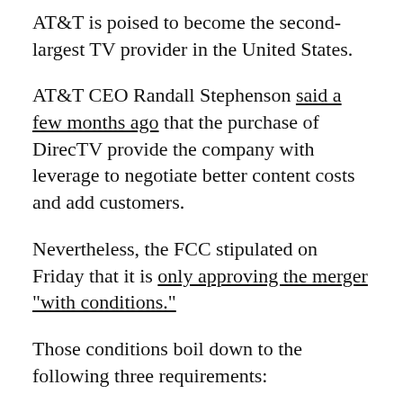AT&T is poised to become the second-largest TV provider in the United States.
AT&T CEO Randall Stephenson said a few months ago that the purchase of DirecTV provide the company with leverage to negotiate better content costs and add customers.
Nevertheless, the FCC stipulated on Friday that it is only approving the merger "with conditions."
Those conditions boil down to the following three requirements: